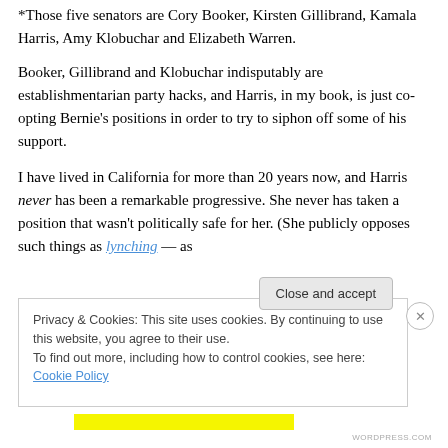*Those five senators are Cory Booker, Kirsten Gillibrand, Kamala Harris, Amy Klobuchar and Elizabeth Warren.
Booker, Gillibrand and Klobuchar indisputably are establishmentarian party hacks, and Harris, in my book, is just co-opting Bernie's positions in order to try to siphon off some of his support.
I have lived in California for more than 20 years now, and Harris never has been a remarkable progressive. She never has taken a position that wasn't politically safe for her. (She publicly opposes such things as lynching — as
Privacy & Cookies: This site uses cookies. By continuing to use this website, you agree to their use.
To find out more, including how to control cookies, see here: Cookie Policy